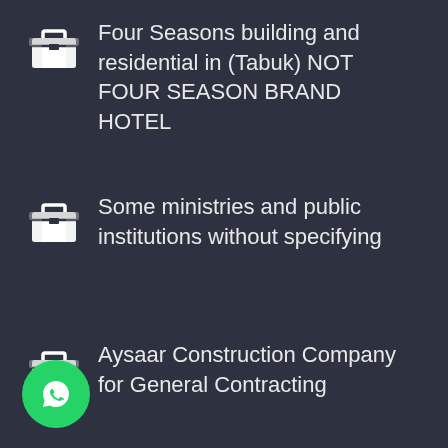Four Seasons building and residential in (Tabuk) NOT FOUR SEASON BRAND HOTEL
Some ministries and public institutions without specifying
Aysaar Construction Company for General Contracting
[Figure (logo): WhatsApp button icon in green circle at bottom left]